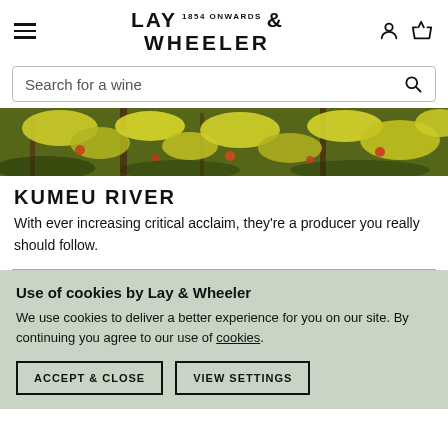LAY 1854 ONWARDS & WHEELER
Search for a wine
[Figure (photo): Close-up photo of a vineyard with yellow-green grape leaves and red/dark fruit in warm sunlight]
KUMEU RIVER
With ever increasing critical acclaim, they're a producer you really should follow.
Use of cookies by Lay & Wheeler
We use cookies to deliver a better experience for you on our site. By continuing you agree to our use of cookies.
ACCEPT & CLOSE   VIEW SETTINGS